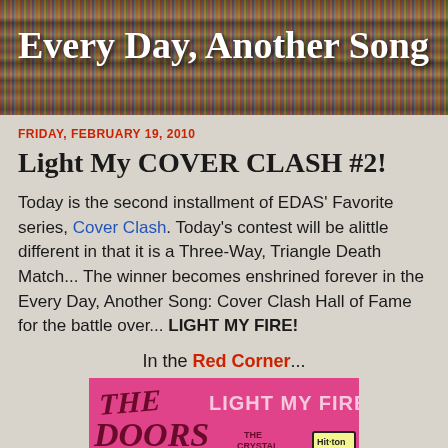Every Day, Another Song
FRIDAY, FEBRUARY 19, 2010
Light My COVER CLASH #2!
Today is the second installment of EDAS' Favorite series, Cover Clash. Today's contest will be alittle different in that it is a Three-Way, Triangle Death Match... The winner becomes enshrined forever in the Every Day, Another Song: Cover Clash Hall of Fame for the battle over... LIGHT MY FIRE!
In the Red Corner...
[Figure (photo): Album cover for 'Light My Fire' by The Doors on the Crystal / Hit-ton label, pink background with dark maroon text and decorative lettering]